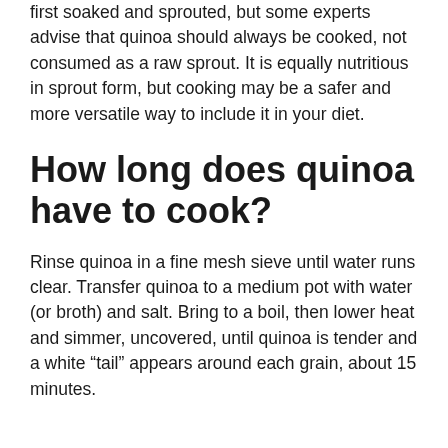first soaked and sprouted, but some experts advise that quinoa should always be cooked, not consumed as a raw sprout. It is equally nutritious in sprout form, but cooking may be a safer and more versatile way to include it in your diet.
How long does quinoa have to cook?
Rinse quinoa in a fine mesh sieve until water runs clear. Transfer quinoa to a medium pot with water (or broth) and salt. Bring to a boil, then lower heat and simmer, uncovered, until quinoa is tender and a white “tail” appears around each grain, about 15 minutes.